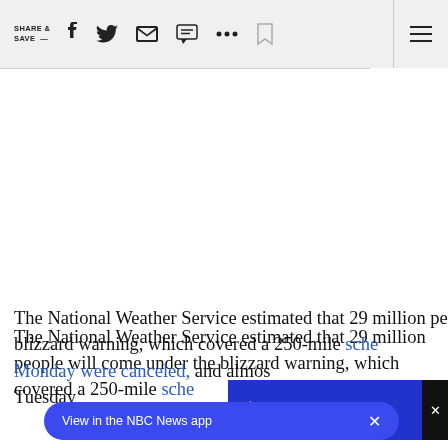SHARE & SAVE — [social icons: Facebook, Twitter, Email, SMS, More, Bookmark, Menu]
The National Weather Service estimated that 29 million people will come under the blizzard warning, which covered a 250-mile [stretch across the] Northeast. Almost 1,900 flights sche[duled for] Monday were canceled, and almos[t all on] Tuesday
[Figure (screenshot): Blue video player overlay with speaker/mute icon and TAP TO UNMUTE text, with X close button]
[Figure (screenshot): NBC News app banner at bottom: 'View in the NBC News app' with X close button]